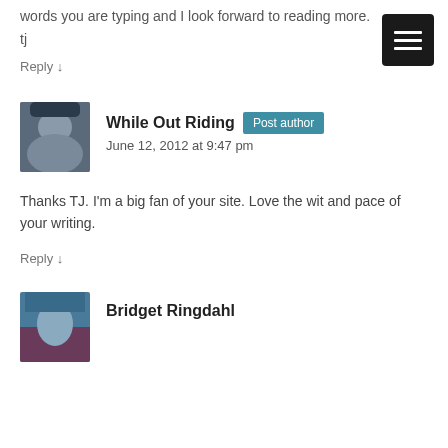words you are typing and I look forward to reading more.
tj
Reply ↓
While Out Riding  Post author
June 12, 2012 at 9:47 pm
Thanks TJ. I'm a big fan of your site. Love the wit and pace of your writing.
Reply ↓
Bridget Ringdahl